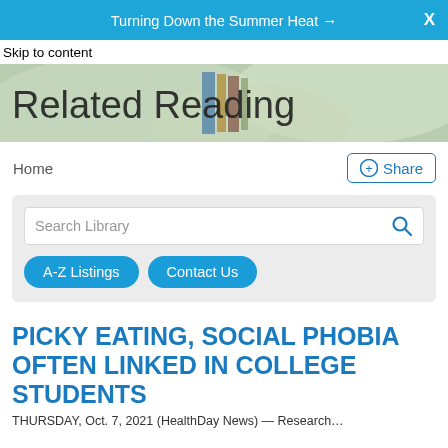Turning Down the Summer Heat →  X
Skip to content
[Figure (illustration): Related Reading hero banner with blurred bookshelf background and large title text]
Home
Share
Search Library
A-Z Listings
Contact Us
PICKY EATING, SOCIAL PHOBIA OFTEN LINKED IN COLLEGE STUDENTS
THURSDAY, Oct. 7, 2021 (HealthDay News) — Research…